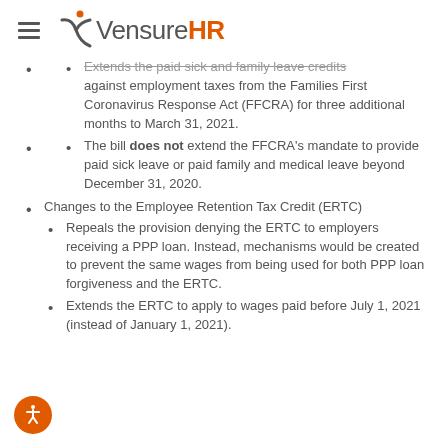VensureHR
Extends the paid sick and family leave credits against employment taxes from the Families First Coronavirus Response Act (FFCRA) for three additional months to March 31, 2021.
The bill does not extend the FFCRA's mandate to provide paid sick leave or paid family and medical leave beyond December 31, 2020.
Changes to the Employee Retention Tax Credit (ERTC)
Repeals the provision denying the ERTC to employers receiving a PPP loan. Instead, mechanisms would be created to prevent the same wages from being used for both PPP loan forgiveness and the ERTC.
Extends the ERTC to apply to wages paid before July 1, 2021 (instead of January 1, 2021).